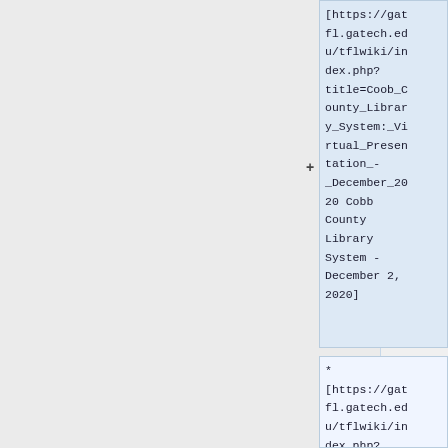[https://gatfl.gatech.edu/tflwiki/index.php?title=Coob_County_Library_System:_Virtual_Presentation_-_December_2020 Cobb County Library System - December 2, 2020]
* [https://gatfl.gatech.edu/tflwiki/index.php?